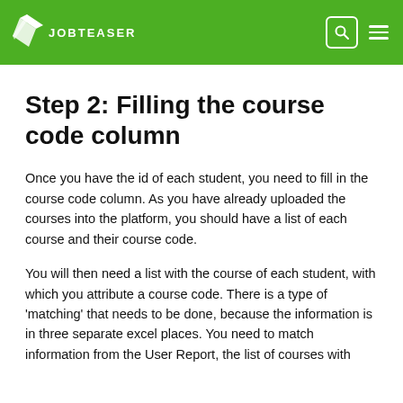JOBTEASER
Step 2: Filling the course code column
Once you have the id of each student, you need to fill in the course code column. As you have already uploaded the courses into the platform, you should have a list of each course and their course code.
You will then need a list with the course of each student, with which you attribute a course code. There is a type of 'matching' that needs to be done, because the information is in three separate excel places. You need to match information from the User Report, the list of courses with